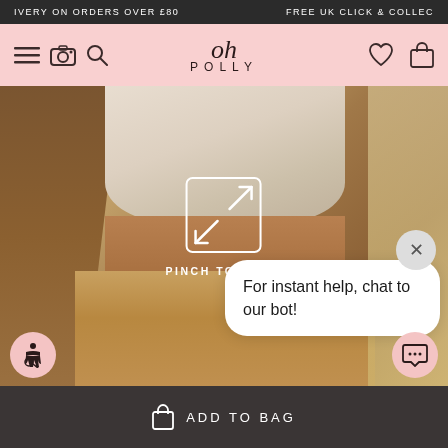IVERY ON ORDERS OVER £80   FREE UK CLICK & COLLEC
[Figure (screenshot): Oh Polly fashion e-commerce website navigation bar with logo on pink background, hamburger menu, camera, search icons on left, heart and bag icons on right]
[Figure (photo): Fashion product photo showing two models wearing beige/cream ribbed crop top and matching tan knit shorts, with pinch-to-zoom overlay icon and PINCH TO ZOOM label]
PINCH TO ZOOM
For instant help, chat to our bot!
ADD TO BAG